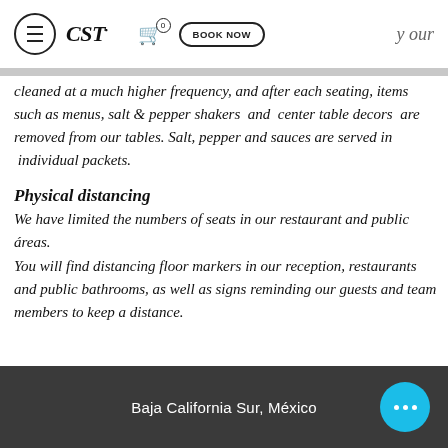CST  BOOK NOW  y our
cleaned at a much higher frequency, and after each seating, items such as menus, salt & pepper shakers  and  center table decors  are removed from our tables. Salt, pepper and sauces are served in  individual packets.
Physical distancing
We have limited the numbers of seats in our restaurant and public áreas.
You will find distancing floor markers in our reception, restaurants and public bathrooms, as well as signs reminding our guests and team members to keep a distance.
Baja California Sur, México